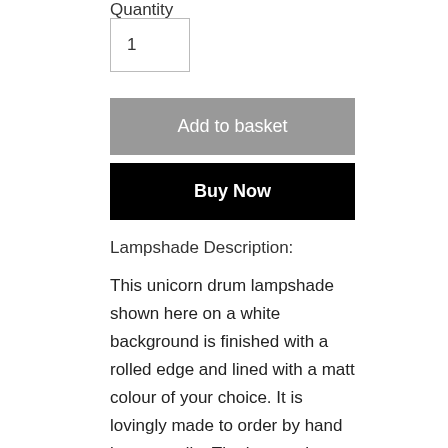Quantity
1
Add to basket
Buy Now
Lampshade Description:
This unicorn drum lampshade shown here on a white background is finished with a rolled edge and lined with a matt colour of your choice. It is lovingly made to order by hand in our studio. The image shows a shade measuring 30cm wide x 25cm high. These high quality lampshades can be